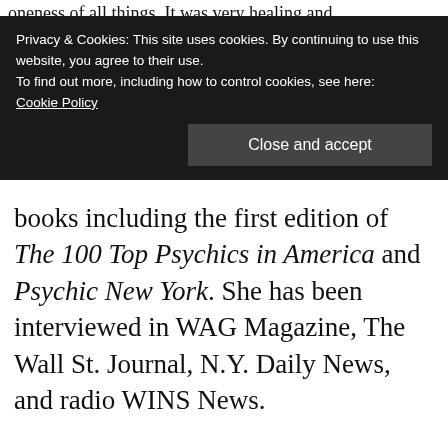oneness of all things. It was very healing and
Privacy & Cookies: This site uses cookies. By continuing to use this website, you agree to their use.
To find out more, including how to control cookies, see here:
Cookie Policy
Close and accept
books including the first edition of The 100 Top Psychics in America and Psychic New York. She has been interviewed in WAG Magazine, The Wall St. Journal, N.Y. Daily News, and radio WINS News.
https://www.psychicjoancarra.net